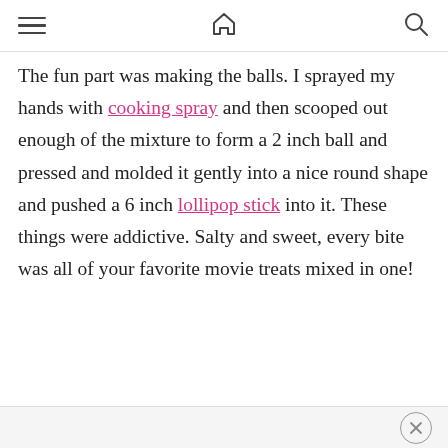[hamburger menu] [home icon] [search icon]
The fun part was making the balls. I sprayed my hands with cooking spray and then scooped out enough of the mixture to form a 2 inch ball and pressed and molded it gently into a nice round shape and pushed a 6 inch lollipop stick into it. These things were addictive. Salty and sweet, every bite was all of your favorite movie treats mixed in one!
[close button]